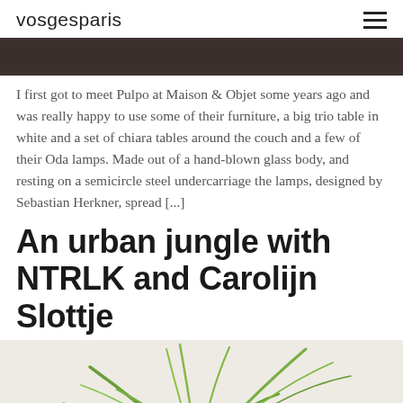vosgesparis
[Figure (photo): Dark wood or stone surface, top portion of an image, dark brown/grey tones]
I first got to meet Pulpo at Maison & Objet some years ago and was really happy to use some of their furniture, a big trio table in white and a set of chiara tables around the couch and a few of their Oda lamps. Made out of a hand-blown glass body, and resting on a semicircle steel undercarriage the lamps, designed by Sebastian Herkner, spread [...]
An urban jungle with NTRLK and Carolijn Slottje
[Figure (photo): A green plant (air plant / tillandsia) on a light cream/beige background, seen from below cropped]